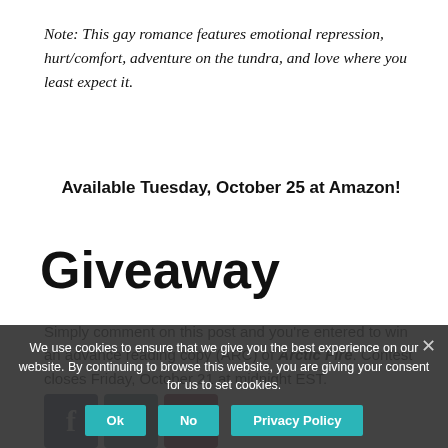Note: This gay romance features emotional repression, hurt/comfort, adventure on the tundra, and love where you least expect it.
Available Tuesday, October 25 at Amazon!
Giveaway
Simply comment on this post and you're entered to win an advance reading copy (ARC) of Arctic Fire. Contest closes Friday, October 21 at midnight EST.
Good luck!
We use cookies to ensure that we give you the best experience on our website. By continuing to browse this website, you are giving your consent for us to set cookies.
Filed Under: blog